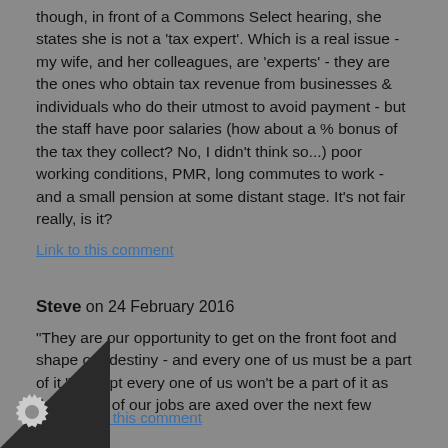though, in front of a Commons Select hearing, she states she is not a 'tax expert'. Which is a real issue - my wife, and her colleagues, are 'experts' - they are the ones who obtain tax revenue from businesses & individuals who do their utmost to avoid payment - but the staff have poor salaries (how about a % bonus of the tax they collect? No, I didn't think so...) poor working conditions, PMR, long commutes to work - and a small pension at some distant stage. It's not fair really, is it?
Link to this comment
Steve on 24 February 2016
"They are our opportunity to get on the front foot and shape our destiny - and every one of us must be a part of it." Except every one of us won't be a part of it as thousands of our jobs are axed over the next few years.
to this comment